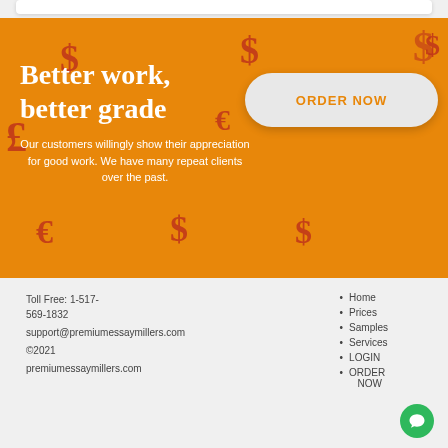[Figure (illustration): Orange promotional banner with currency symbols (dollar and pound signs) scattered in background, bold white heading 'Better work, better grade', subtitle text, and a light grey ORDER NOW button]
Better work, better grade
Our customers willingly show their appreciation for good work. We have many repeat clients over the past.
ORDER NOW
Toll Free: 1-517-569-1832
support@premiumessaymillers.com
©2021
premiumessaymillers.com
Home
Prices
Samples
Services
LOGIN
ORDER NOW